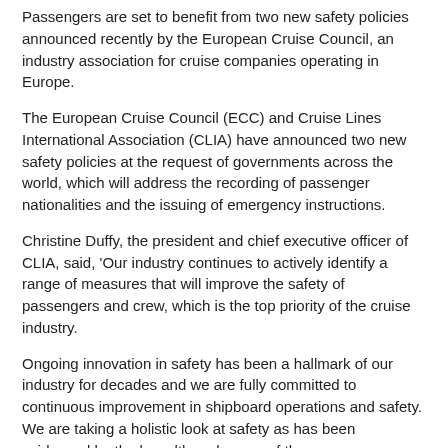Passengers are set to benefit from two new safety policies announced recently by the European Cruise Council, an industry association for cruise companies operating in Europe.
The European Cruise Council (ECC) and Cruise Lines International Association (CLIA) have announced two new safety policies at the request of governments across the world, which will address the recording of passenger nationalities and the issuing of emergency instructions.
Christine Duffy, the president and chief executive officer of CLIA, said, 'Our industry continues to actively identify a range of measures that will improve the safety of passengers and crew, which is the top priority of the cruise industry.
Ongoing innovation in safety has been a hallmark of our industry for decades and we are fully committed to continuous improvement in shipboard operations and safety. We are taking a holistic look at safety as has been evidenced by the breadth and scope of the numerous policies that have been developed and adopted as part of the Review since its launch earlier this year.'
The Nationality of Passengers policy will include the recording of the